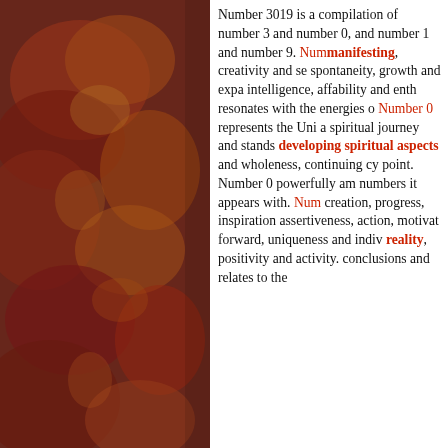[Figure (illustration): Abstract floral/ink painting with red, orange, yellow, and brown tones on the left half of the page]
Number 3019 is a compilation of number 3 and number 0, and number 1 and number 9. Number 3 resonates with manifesting, creativity and self-expression, spontaneity, growth and expansion, intelligence, affability and enthusiasm. It also resonates with the energies of Number 0 represents the Universe, a spiritual journey and stands for developing spiritual aspects, eternity and wholeness, continuing cycles and the point. Number 0 powerfully amplifies the numbers it appears with. Number 1 resonates with creation, progress, inspiration and intuition, assertiveness, action, motivation, stepping forward, uniqueness and individuality, creating reality, positivity and activity. Number 9 draws conclusions and relates to the...